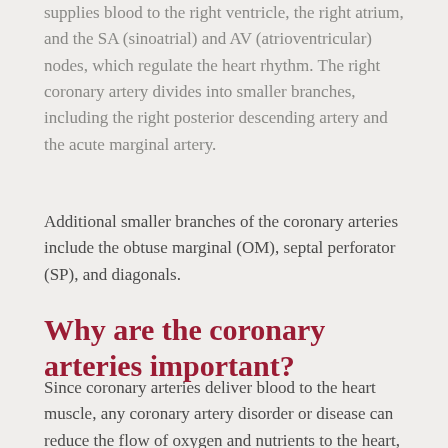supplies blood to the right ventricle, the right atrium, and the SA (sinoatrial) and AV (atrioventricular) nodes, which regulate the heart rhythm. The right coronary artery divides into smaller branches, including the right posterior descending artery and the acute marginal artery.
Additional smaller branches of the coronary arteries include the obtuse marginal (OM), septal perforator (SP), and diagonals.
Why are the coronary arteries important?
Since coronary arteries deliver blood to the heart muscle, any coronary artery disorder or disease can reduce the flow of oxygen and nutrients to the heart, which may lead to a heart attack and possibly death.